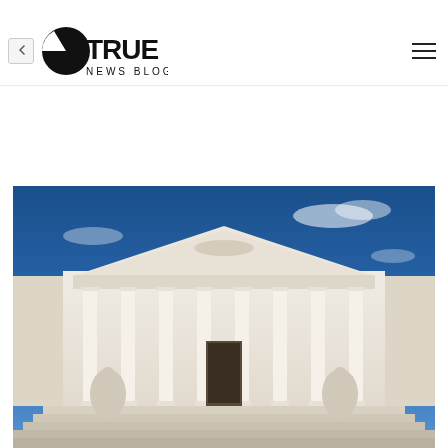[Figure (logo): True News Blog logo with globe/pie icon and navigation chevron button and hamburger menu]
[Figure (photo): Photograph of the United States Supreme Court building facade with classical Greek columns, pediment with sculptural relief, wide marble steps, blue sky with clouds, and statuary on either side]